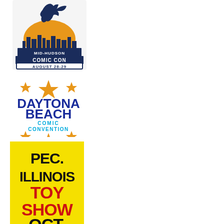[Figure (logo): Mid-Hudson Comic Con logo with howling wolf silhouette over orange sun and city skyline, text MID-HUDSON COMIC CON AUGUST 28-29, dark blue and orange colors]
[Figure (logo): Daytona Beach Comic Convention logo with blue bold text DAYTONA BEACH COMIC CONVENTION and gold/orange stars above and below]
[Figure (logo): PEC Illinois Toy Show logo on yellow background with large black bold text PEC. ILLINOIS and large red bold text TOY SHOW, partial date OCT visible at bottom]